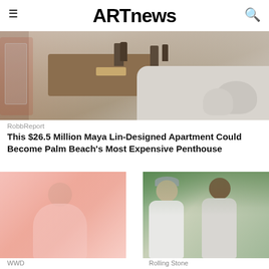ARTnews
[Figure (photo): Interior photo of a luxury apartment living room with sculptures on a wooden coffee table, white sofas, and decorative objects. RobbReport.]
RobbReport
This $26.5 Million Maya Lin-Designed Apartment Could Become Palm Beach's Most Expensive Penthouse
[Figure (photo): Person wrapped in sheer pink fabric/veil, fashion editorial style. WWD.]
[Figure (photo): Two men seated outdoors in casual summer attire, one wearing a striped hat. Rolling Stone.]
WWD
Rolling Stone